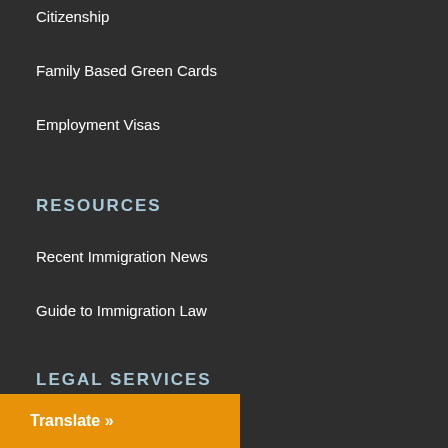Citizenship
Family Based Green Cards
Employment Visas
RESOURCES
Recent Immigration News
Guide to Immigration Law
LEGAL SERVICES
Request For Re-entry Permit
on Law
Translate »